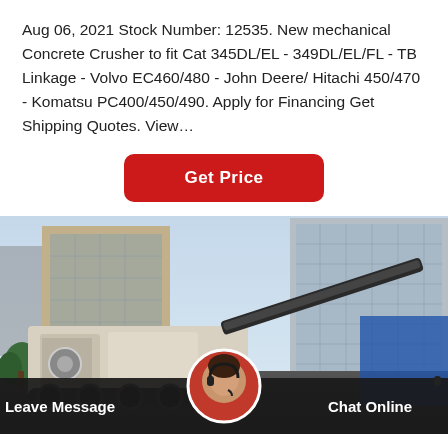Aug 06, 2021 Stock Number: 12535. New mechanical Concrete Crusher to fit Cat 345DL/EL - 349DL/EL/FL - TB Linkage - Volvo EC460/480 - John Deere/ Hitachi 450/470 - Komatsu PC400/450/490. Apply for Financing Get Shipping Quotes. View…
[Figure (other): Red rounded-rectangle button labeled 'Get Price' in white bold text]
[Figure (photo): Photograph of a mobile concrete crusher/construction machinery in an urban setting with large multi-story buildings in the background. A customer service representative avatar appears at the bottom center overlapping a dark chat bar.]